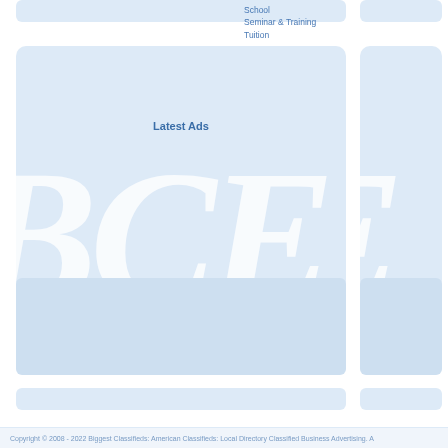School
Seminar & Training
Tuition
Latest Ads
[Figure (logo): Large watermark letters 'BCE' in white italic serif font overlaid on a light blue panel background]
Copyright © 2008 - 2022 Biggest Classifieds: American Classifieds: Local Directory Classified Business Advertising. A